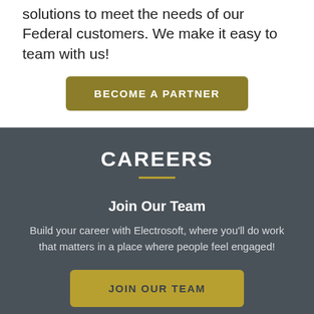solutions to meet the needs of our Federal customers. We make it easy to team with us!
BECOME A PARTNER
CAREERS
Join Our Team
Build your career with Electrosoft, where you'll do work that matters in a place where people feel engaged!
JOIN OUR TEAM
LIFE AT ELECTROSOFT
Why Work Here